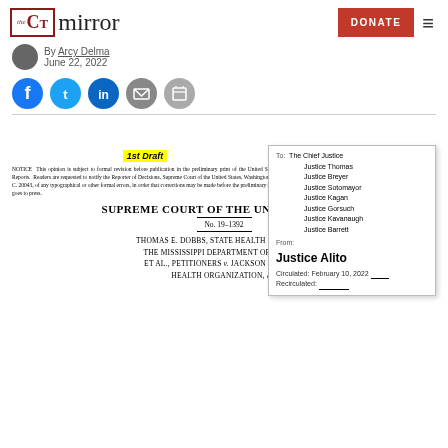the CT mirror — DONATE
By [author name] · June 22, 2022
[Figure (other): Social sharing buttons: Facebook, Twitter, LinkedIn, Email, Print]
[Figure (other): Scanned Supreme Court draft opinion page with routing slip. Routing slip addressed To: The Chief Justice, Justice Thomas, Justice Breyer, Justice Sotomayor, Justice Kagan, Justice Gorsuch, Justice Kavanaugh, Justice Barrett; From: Justice Alito; Circulated: February 10, 2022; Recirculated: ___. Document header reads '1st Draft' then NOTICE text, then SUPREME COURT OF THE UNITED STATES, No. 19-1392, THOMAS E. DOBBS, STATE HEALTH OFFICER OF THE MISSISSIPPI DEPARTMENT OF HEALTH, ET AL., PETITIONERS v. JACKSON WOMEN'S HEALTH ORGANIZATION, etc.]